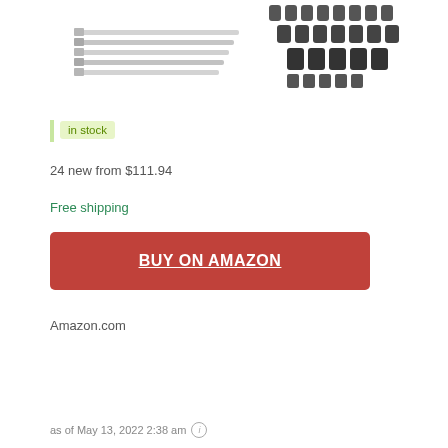[Figure (photo): Product image of a socket wrench / tool set with multiple sockets and extension bars, shown on a white background, partially cropped at top]
in stock
24 new from $111.94
Free shipping
BUY ON AMAZON
Amazon.com
as of May 13, 2022 2:38 am